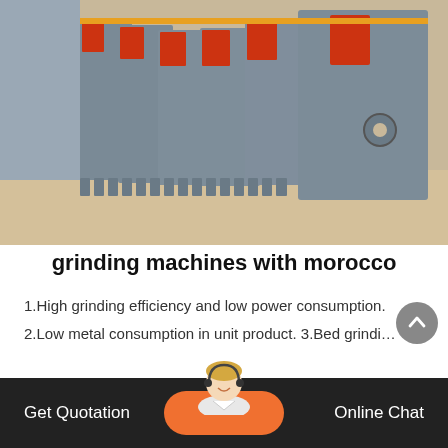[Figure (photo): Row of large gray industrial grinding mill machines lined up outdoors on sandy ground, with red openings visible and heavy cast metal construction]
grinding machines with morocco
1.High grinding efficiency and low power consumption.
2.Low metal consumption in unit product. 3.Bed grindi…
[Figure (photo): Customer service representative (blonde woman with headset) chat widget]
Get Quotation   Online Chat